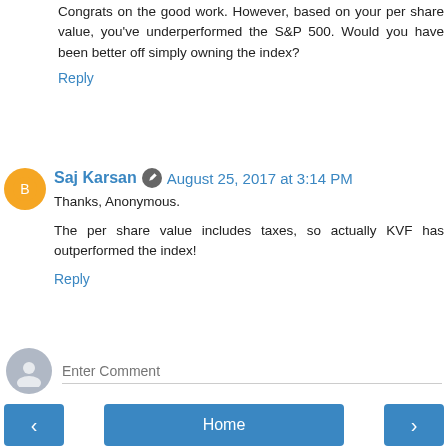Congrats on the good work. However, based on your per share value, you've underperformed the S&P 500. Would you have been better off simply owning the index?
Reply
Saj Karsan  August 25, 2017 at 3:14 PM
Thanks, Anonymous.
The per share value includes taxes, so actually KVF has outperformed the index!
Reply
Enter Comment
Home